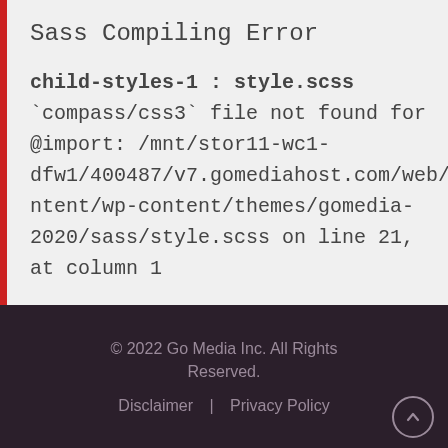Sass Compiling Error
child-styles-1 : style.scss
`compass/css3` file not found for @import: /mnt/stor11-wc1-dfw1/400487/v7.gomediahost.com/web/content/wp-content/themes/gomedia-2020/sass/style.scss on line 21, at column 1
© 2022 Go Media Inc.  All Rights Reserved.
Disclaimer  |  Privacy Policy